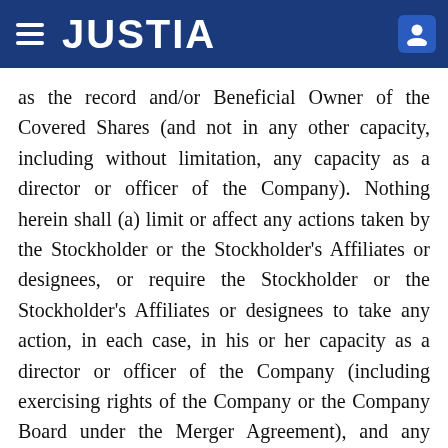JUSTIA
as the record and/or Beneficial Owner of the Covered Shares (and not in any other capacity, including without limitation, any capacity as a director or officer of the Company). Nothing herein shall (a) limit or affect any actions taken by the Stockholder or the Stockholder's Affiliates or designees, or require the Stockholder or the Stockholder's Affiliates or designees to take any action, in each case, in his or her capacity as a director or officer of the Company (including exercising rights of the Company or the Company Board under the Merger Agreement), and any actions taken, or failure to take any actions, by such Person in such capacity as a director or officer of the Company shall not be deemed to constitute a breach of this Agreement, or (b) be construed to prohibit, limit or restrict the Stockholder or any of the Stockholder's Affiliates or designees from exercising the their fiduciary duties to the Company or